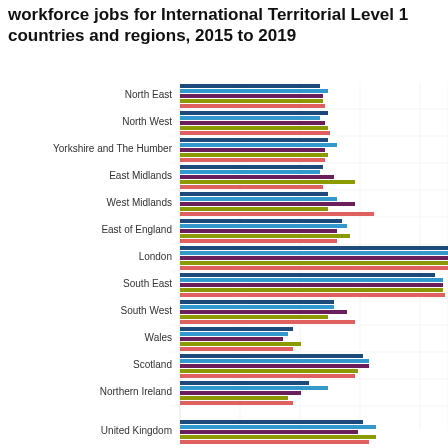workforce jobs for International Territorial Level 1 countries and regions, 2015 to 2019
[Figure (grouped-bar-chart): workforce jobs for International Territorial Level 1 countries and regions, 2015 to 2019]